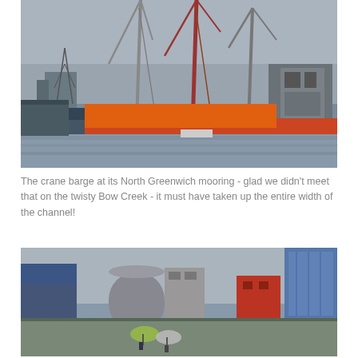[Figure (photo): A crane barge moored at North Greenwich. Two large cranes (one red, one grey) rise from a barge on a grey river. Behind are industrial buildings and a dock. Overcast grey sky.]
The crane barge at its North Greenwich mooring - glad we didn't meet that on the twisty Bow Creek - it must have taken up the entire width of the channel!
[Figure (photo): View from a waterway showing city buildings including a blue and grey structure, a cylindrical building, and a red building. In the foreground, people with umbrellas on a towpath. Overcast sky.]